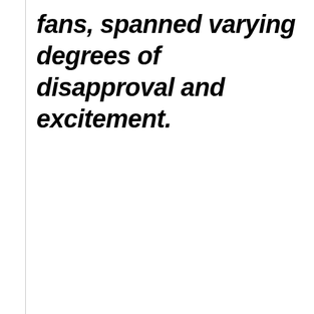fans, spanned varying degrees of disapproval and excitement.